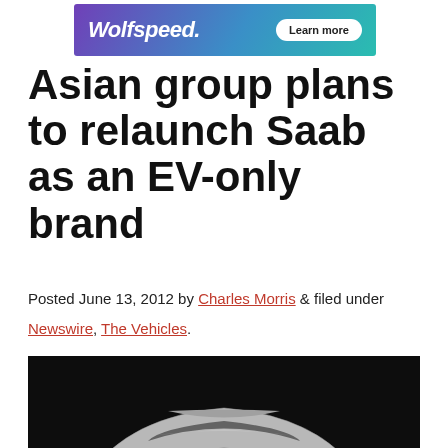[Figure (other): Wolfspeed advertisement banner with gradient background (purple to teal), Wolfspeed logo in white italic bold text, and a 'Learn more' button]
Asian group plans to relaunch Saab as an EV-only brand
Posted June 13, 2012 by Charles Morris & filed under
Newswire, The Vehicles.
[Figure (photo): Front-facing view of a silver Saab concept car against a dark background, showing the SAAB badge on the grille, LED headlights, and aerodynamic front bumper]